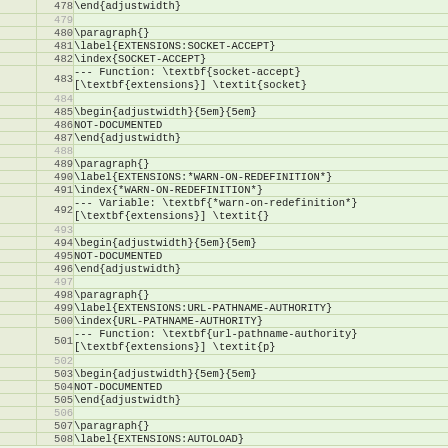| gutter | line | code |
| --- | --- | --- |
|  | 478 | \end{adjustwidth} |
|  | 479 |  |
|  | 480 | \paragraph{} |
|  | 481 | \label{EXTENSIONS:SOCKET-ACCEPT} |
|  | 482 | \index{SOCKET-ACCEPT} |
|  | 483 | --- Function: \textbf{socket-accept} [\textbf{extensions}] \textit{socket} |
|  | 484 |  |
|  | 485 | \begin{adjustwidth}{5em}{5em} |
|  | 486 | NOT-DOCUMENTED |
|  | 487 | \end{adjustwidth} |
|  | 488 |  |
|  | 489 | \paragraph{} |
|  | 490 | \label{EXTENSIONS:*WARN-ON-REDEFINITION*} |
|  | 491 | \index{*WARN-ON-REDEFINITION*} |
|  | 492 | --- Variable: \textbf{*warn-on-redefinition*} [\textbf{extensions}] \textit{} |
|  | 493 |  |
|  | 494 | \begin{adjustwidth}{5em}{5em} |
|  | 495 | NOT-DOCUMENTED |
|  | 496 | \end{adjustwidth} |
|  | 497 |  |
|  | 498 | \paragraph{} |
|  | 499 | \label{EXTENSIONS:URL-PATHNAME-AUTHORITY} |
|  | 500 | \index{URL-PATHNAME-AUTHORITY} |
|  | 501 | --- Function: \textbf{url-pathname-authority} [\textbf{extensions}] \textit{p} |
|  | 502 |  |
|  | 503 | \begin{adjustwidth}{5em}{5em} |
|  | 504 | NOT-DOCUMENTED |
|  | 505 | \end{adjustwidth} |
|  | 506 |  |
|  | 507 | \paragraph{} |
|  | 508 | \label{EXTENSIONS:AUTOLOAD} |